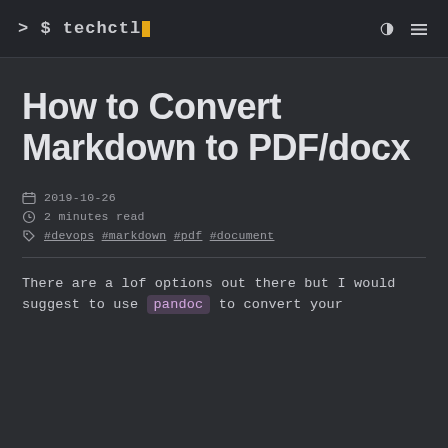> $ techctl
How to Convert Markdown to PDF/docx
2019-10-26
2 minutes read
#devops #markdown #pdf #document
There are a lof options out there but I would suggest to use pandoc to convert your